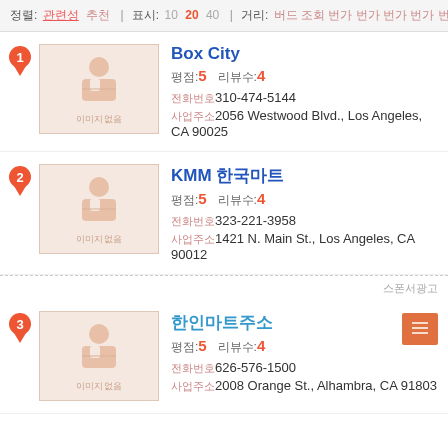정렬: 관련성 추천 | 표시: 10 20 40 | 거리: 버드 조회 번가 번가 번가 번가 번가 번가
1. Box City | 평점: 5 리뷰수: 4 | 전화: 310-474-5144 | 주소: 2056 Westwood Blvd., Los Angeles, CA 90025
2. KMM 한국마트 | 평점: 5 리뷰수: 4 | 전화: 323-221-3958 | 주소: 1421 N. Main St., Los Angeles, CA 90012
스폰서광고
3. 한인마트주소 | 평점: 5 리뷰수: 4 | 전화: 626-576-1500 | 주소: 2008 Orange St., Alhambra, CA 91803